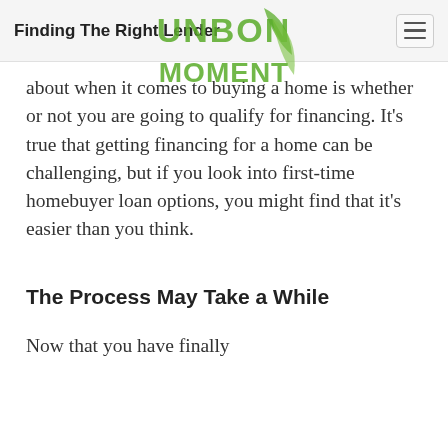Finding The Right Lender
[Figure (logo): UNBON MOMENT green leaf logo watermark overlaid on page header area]
about when it comes to buying a home is whether or not you are going to qualify for financing. It's true that getting financing for a home can be challenging, but if you look into first-time homebuyer loan options, you might find that it's easier than you think.
The Process May Take a While
Now that you have finally